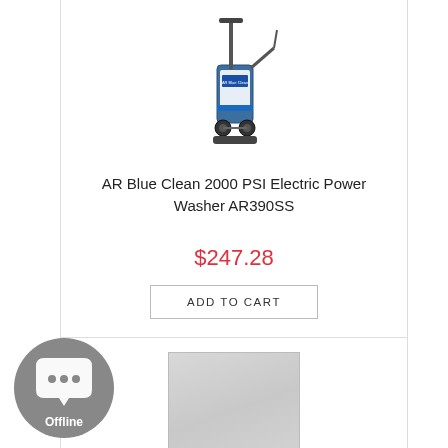[Figure (photo): AR Blue Clean 2000 PSI Electric Power Washer product image on white background]
AR Blue Clean 2000 PSI Electric Power Washer AR390SS
$247.28
ADD TO CART
[Figure (photo): Light gray square product image placeholder for infrared heating panel]
y II Infrared Heating Panel – 120AIP2-200
[Figure (other): Chat support widget showing offline status with speech bubble icon]